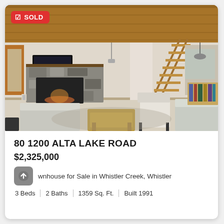[Figure (photo): Interior photo of a living room with wood ceiling, stone fireplace, wooden staircase, carpeted floor, sofa, coffee table, and armchair. A 'SOLD' badge is overlaid in the top-left corner.]
80 1200 ALTA LAKE ROAD
$2,325,000
Townhouse for Sale in Whistler Creek, Whistler
3 Beds  |  2 Baths  |  1359 Sq. Ft.  |  Built 1991